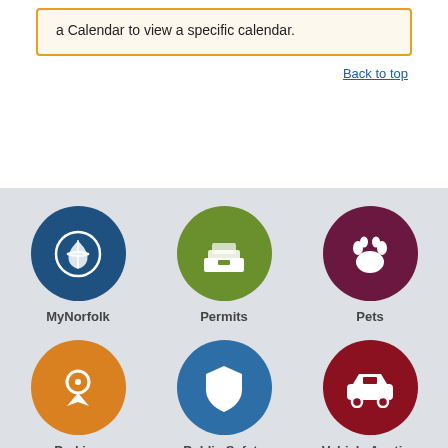a Calendar to view a specific calendar.
Back to top
[Figure (infographic): Six circular icon buttons arranged in a 3x2 grid on a light gray background. Top row: MyNorfolk (dark blue circle with hand/globe icon), Permits (olive green circle with filing cabinet icon), Pets (dark maroon circle with paw print icon). Bottom row: Parking (orange circle with map pin icon), Public Safety (steel blue circle with badge/shield icon), Vehicle Auction (dark red circle with car icon). Each circle has a white icon and a label below it.]
MyNorfolk
Permits
Pets
Parking
Public Safety
Vehicle Auction